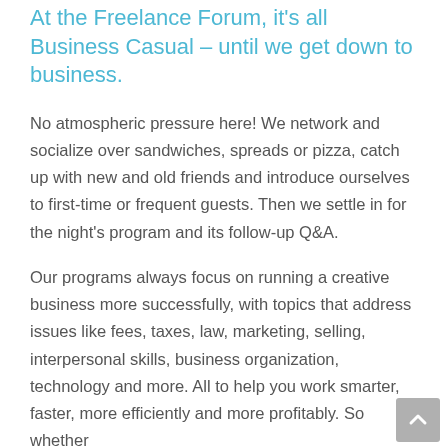At the Freelance Forum, it's all Business Casual – until we get down to business.
No atmospheric pressure here! We network and socialize over sandwiches, spreads or pizza, catch up with new and old friends and introduce ourselves to first-time or frequent guests. Then we settle in for the night's program and its follow-up Q&A.
Our programs always focus on running a creative business more successfully, with topics that address issues like fees, taxes, law, marketing, selling, interpersonal skills, business organization, technology and more. All to help you work smarter, faster, more efficiently and more profitably. So whether